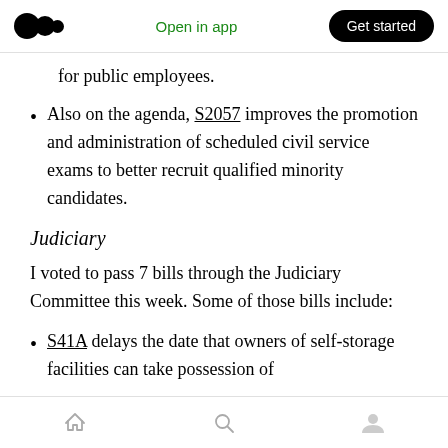Open in app | Get started
for public employees.
Also on the agenda, S2057 improves the promotion and administration of scheduled civil service exams to better recruit qualified minority candidates.
Judiciary
I voted to pass 7 bills through the Judiciary Committee this week. Some of those bills include:
S41A delays the date that owners of self-storage facilities can take possession of